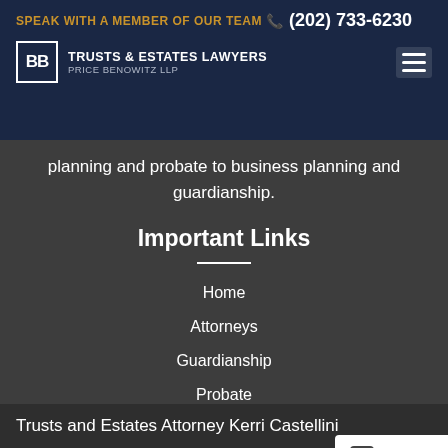SPEAK WITH A MEMBER OF OUR TEAM (202) 733-6230 | TRUSTS & ESTATES LAWYERS PRICE BENOWITZ LLP
planning and probate to business planning and guardianship.
Important Links
Home
Attorneys
Guardianship
Probate
New York
Virginia
Trusts and Estates Attorney Kerri Castellini